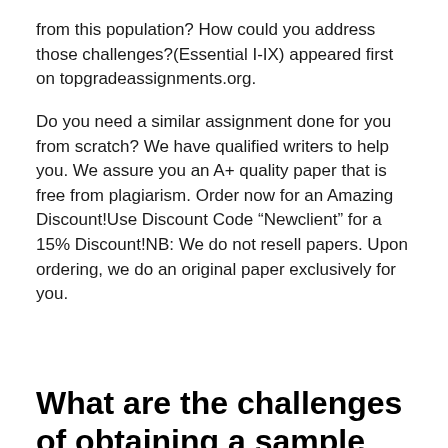from this population? How could you address those challenges?(Essential I-IX) appeared first on topgradeassignments.org.
Do you need a similar assignment done for you from scratch? We have qualified writers to help you. We assure you an A+ quality paper that is free from plagiarism. Order now for an Amazing Discount!Use Discount Code “Newclient” for a 15% Discount!NB: We do not resell papers. Upon ordering, we do an original paper exclusively for you.
What are the challenges of obtaining a sample from this population? How could you address those challenges?(Essential I-IX)